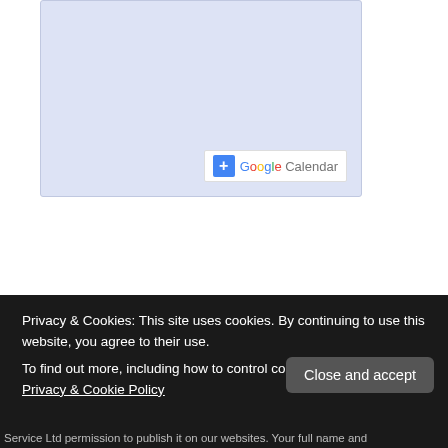[Figure (screenshot): Google Calendar embedded widget area — light blue-lavender rectangle with a '+ Google Calendar' button in the lower right corner]
[Figure (infographic): Best Gas Prices advertisement banner. Light blue background with a gas pump icon on the left. Text reads 'BEST GAS PRICES' in large bold letters and 'Click Here' below.]
Privacy & Cookies: This site uses cookies. By continuing to use this website, you agree to their use.
To find out more, including how to control cookies, see here: Privacy & Cookie Policy
Close and accept
Service Ltd permission to publish it on our websites. Your full name and